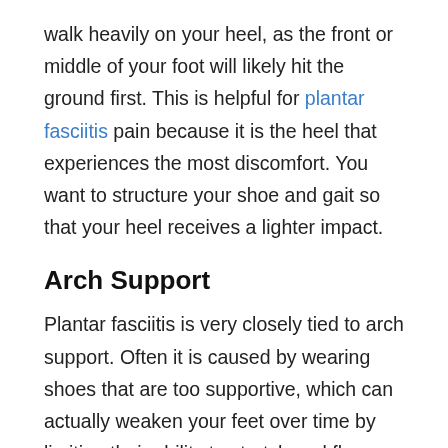walk heavily on your heel, as the front or middle of your foot will likely hit the ground first. This is helpful for plantar fasciitis pain because it is the heel that experiences the most discomfort. You want to structure your shoe and gait so that your heel receives a lighter impact.
Arch Support
Plantar fasciitis is very closely tied to arch support. Often it is caused by wearing shoes that are too supportive, which can actually weaken your feet over time by limiting their ability to stretch and flex naturally. But in order to fix plantar fasciitis, you need to start with strong